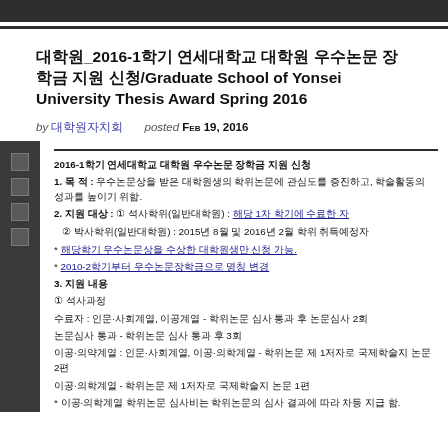대학원_2016-1학기 연세대학교 대학원 우수논문 장학금 지원 신청/Graduate School of Yonsei University Thesis Award Spring 2016
by 대학원자치회   posted Feb 19, 2016
2016-1학기 연세대학교 대학원 우수논문 장학금 지원 신청
1. 목 적 : 우수논문상을 받은 대학원생의 학위논문에 관심도를 증진하고, 학술활동의 성과를 높이기 위함.
2. 지원 대상 : ① 석사학위(일반대학원) : 해당 1차 학기에 수료한 자 ② 박사학위(일반대학원) : 2015년 8월 및 2016년 2월 학위 취득예정자
* 해당학기 우수논문상을 수상한 대학원생만 신청 가능. * 2010-2학기부터 우수논문장학금으로 명칭 변경
3. 지원 내용 ① 석사과정 수료자 : 인문·사회계열, 이공·의학계열 - 학위논문 심사 통과 후 논문심사2회 논문심사 통과 - 학위논문 심사 통과 후 3회 이공·의약계열 : 인문·사회계열, 이공·의학계열 - 학위논문 제 1저자로 국제학술지 논문 2편 이공·의학계열 - 학위논문 제 1저자로 국제학술지 논문 1편